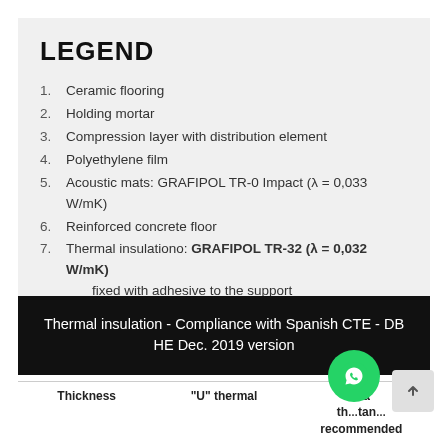LEGEND
Ceramic flooring
Holding mortar
Compression layer with distribution element
Polyethylene film
Acoustic mats: GRAFIPOL TR-0 Impact (λ = 0,033 W/mK)
Reinforced concrete floor
Thermal insulationo: GRAFIPOL TR-32 (λ = 0,032 W/mK) fixed with adhesive to the support
Outer sleeve
Thermal insulation - Compliance with Spanish CTE - DB HE Dec. 2019 version
| Thickness | "U" thermal | ma… tha… tan… recommended |
| --- | --- | --- |